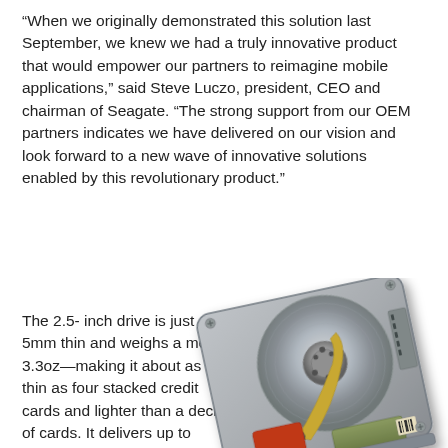“When we originally demonstrated this solution last September, we knew we had a truly innovative product that would empower our partners to reimagine mobile applications,” said Steve Luczo, president, CEO and chairman of Seagate. “The strong support from our OEM partners indicates we have delivered on our vision and look forward to a new wave of innovative solutions enabled by this revolutionary product.”
The 2.5- inch drive is just 5mm thin and weighs a mere 3.3oz—making it about as thin as four stacked credit cards and lighter than a deck of cards. It delivers up to 500GB of capacity in 25 percent less space than its previous-generation 7mm
[Figure (photo): A Seagate 2.5-inch hard disk drive shown from an angled top-down view, displaying the internal components including the magnetic platter, read/write arm, and circuit board, with a metallic silver casing.]